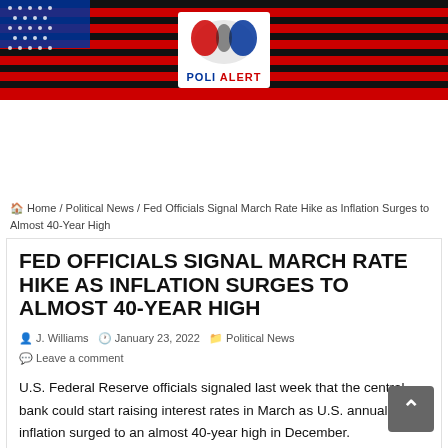[Figure (logo): Poli Alert website header banner with American flag stripes in red/black on left, logo in center showing 'POLI ALERT' with eagle graphic, and stripes on right.]
Home / Political News / Fed Officials Signal March Rate Hike as Inflation Surges to Almost 40-Year High
FED OFFICIALS SIGNAL MARCH RATE HIKE AS INFLATION SURGES TO ALMOST 40-YEAR HIGH
J. Williams   January 23, 2022   Political News   Leave a comment
U.S. Federal Reserve officials signaled last week that the central bank could start raising interest rates in March as U.S. annual inflation surged to an almost 40-year high in December.
“Inflation is too high, and working people around the country are